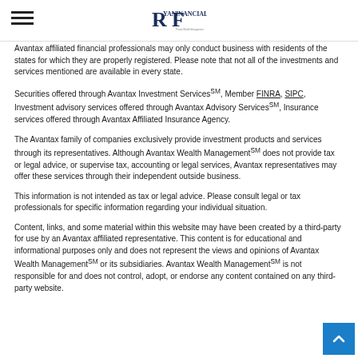Ryan Financial — Private Wealth Management logo and navigation
Avantax affiliated financial professionals may only conduct business with residents of the states for which they are properly registered. Please note that not all of the investments and services mentioned are available in every state.
Securities offered through Avantax Investment ServicesSM, Member FINRA, SIPC, Investment advisory services offered through Avantax Advisory ServicesSM, Insurance services offered through Avantax Affiliated Insurance Agency.
The Avantax family of companies exclusively provide investment products and services through its representatives. Although Avantax Wealth ManagementSM does not provide tax or legal advice, or supervise tax, accounting or legal services, Avantax representatives may offer these services through their independent outside business.
This information is not intended as tax or legal advice. Please consult legal or tax professionals for specific information regarding your individual situation.
Content, links, and some material within this website may have been created by a third-party for use by an Avantax affiliated representative. This content is for educational and informational purposes only and does not represent the views and opinions of Avantax Wealth ManagementSM or its subsidiaries. Avantax Wealth ManagementSM is not responsible for and does not control, adopt, or endorse any content contained on any third-party website.